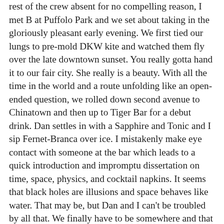rest of the crew absent for no compelling reason, I met B at Puffolo Park and we set about taking in the gloriously pleasant early evening. We first tied our lungs to pre-mold DKW kite and watched them fly over the late downtown sunset. You really gotta hand it to our fair city. She really is a beauty. With all the time in the world and a route unfolding like an open-ended question, we rolled down second avenue to Chinatown and then up to Tiger Bar for a debut drink. Dan settles in with a Sapphire and Tonic and I sip Fernet-Branca over ice. I mistakenly make eye contact with someone at the bar which leads to a quick introduction and impromptu dissertation on time, space, physics, and cocktail napkins. It seems that black holes are illusions and space behaves like water. That may be, but Dan and I can't be troubled by all that. We finally have to be somewhere and that place is The Matador. I'd like a McHookah, please. Can you tell me a place around here that we can get Pabst at popular prices? Plenty of video-worthy decor inside the 'dor. Jameson and backs. The EBMB arrives, sniffs around unimpressed, and marvels at our